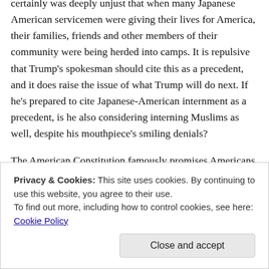certainly was deeply unjust that when many Japanese American servicemen were giving their lives for America, their families, friends and other members of their community were being herded into camps. It is repulsive that Trump's spokesman should cite this as a precedent, and it does raise the issue of what Trump will do next. If he's prepared to cite Japanese-American internment as a precedent, is he also considering interning Muslims as well, despite his mouthpiece's smiling denials?
The American Constitution famously promises Americans freedom of religion. And religious freedom has been at the
Privacy & Cookies: This site uses cookies. By continuing to use this website, you agree to their use.
To find out more, including how to control cookies, see here: Cookie Policy
religious toleration begins with him in the 17th century.